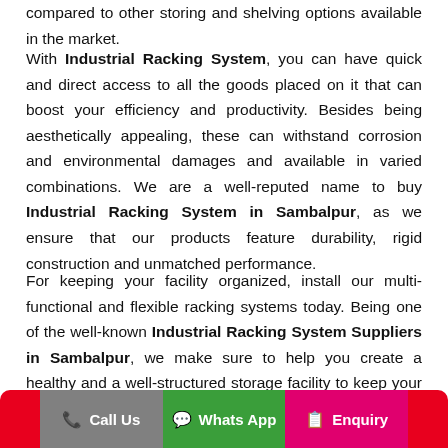compared to other storing and shelving options available in the market.
With Industrial Racking System, you can have quick and direct access to all the goods placed on it that can boost your efficiency and productivity. Besides being aesthetically appealing, these can withstand corrosion and environmental damages and available in varied combinations. We are a well-reputed name to buy Industrial Racking System in Sambalpur, as we ensure that our products feature durability, rigid construction and unmatched performance.
For keeping your facility organized, install our multi-functional and flexible racking systems today. Being one of the well-known Industrial Racking System Suppliers in Sambalpur, we make sure to help you create a healthy and a well-structured storage facility to keep your business running properly.
Call Us   Whats App   Enquiry